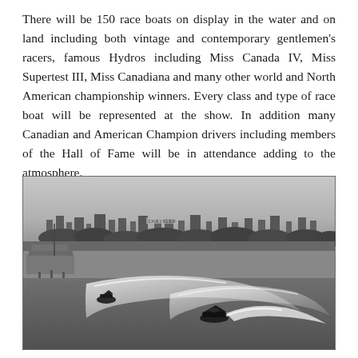There will be 150 race boats on display in the water and on land including both vintage and contemporary gentlemen's racers, famous Hydros including Miss Canada IV, Miss Supertest III, Miss Canadiana and many other world and North American championship winners. Every class and type of race boat will be represented at the show. In addition many Canadian and American Champion drivers including members of the Hall of Fame will be in attendance adding to the atmosphere.
[Figure (photo): Black and white photograph of hydroplane race boats speeding across a river or lake, creating large white spray wakes. In the background is a cityscape with trees, industrial buildings, and a Chrysler sign visible. A ferry or dock structure is visible on the left side of the image.]